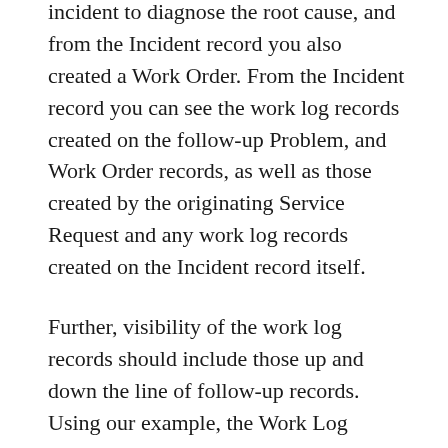incident to diagnose the root cause, and from the Incident record you also created a Work Order. From the Incident record you can see the work log records created on the follow-up Problem, and Work Order records, as well as those created by the originating Service Request and any work log records created on the Incident record itself.
Further, visibility of the work log records should include those up and down the line of follow-up records. Using our example, the Work Log records created on the Problem and Work Order applications should also be visible on the originating Service Requests and if these were marked as Viewable, then also by the Affected Person from the Self-Service View Service Requests application. Note. This original functionality had been